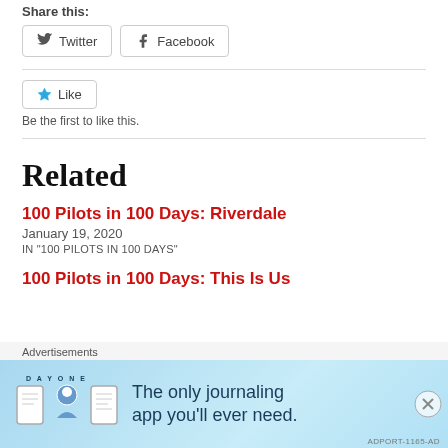Share this:
Twitter
Facebook
Be the first to like this.
Related
100 Pilots in 100 Days: Riverdale
January 19, 2020
IN "100 PILOTS IN 100 DAYS"
100 Pilots in 100 Days: This Is Us
[Figure (screenshot): Day One journaling app advertisement: 'The only journaling app you'll ever need.']